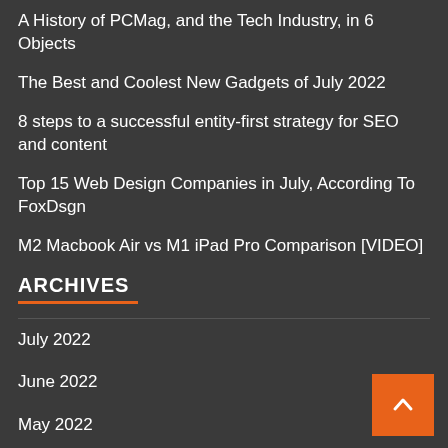A History of PCMag, and the Tech Industry, in 6 Objects
The Best and Coolest New Gadgets of July 2022
8 steps to a successful entity-first strategy for SEO and content
Top 15 Web Design Companies in July, According To FoxDsgn
M2 Macbook Air vs M1 iPad Pro Comparison [VIDEO]
ARCHIVES
July 2022
June 2022
May 2022
April 2022